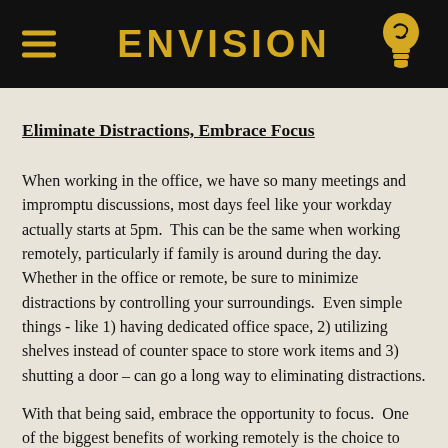ENVISION
Eliminate Distractions, Embrace Focus
When working in the office, we have so many meetings and impromptu discussions, most days feel like your workday actually starts at 5pm.  This can be the same when working remotely, particularly if family is around during the day.  Whether in the office or remote, be sure to minimize distractions by controlling your surroundings.  Even simple things - like 1) having dedicated office space, 2) utilizing shelves instead of counter space to store work items and 3) shutting a door – can go a long way to eliminating distractions.
With that being said, embrace the opportunity to focus.  One of the biggest benefits of working remotely is the choice to isolate yourself for a select time and get stuff done.  So, make the choice daily to